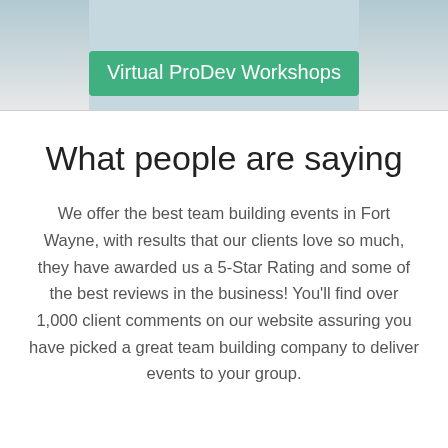[Figure (photo): Partial photo of people at a team building event, cropped at top of page]
Virtual ProDev Workshops
What people are saying
We offer the best team building events in Fort Wayne, with results that our clients love so much, they have awarded us a 5-Star Rating and some of the best reviews in the business! You'll find over 1,000 client comments on our website assuring you have picked a great team building company to deliver events to your group.